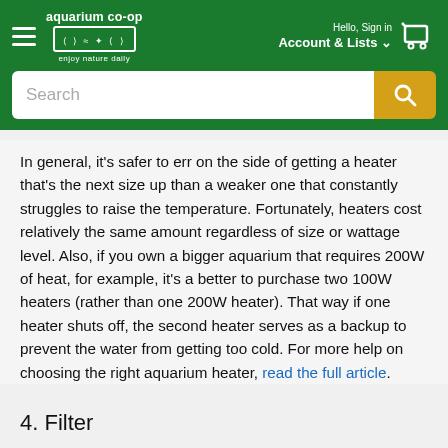aquarium co-op enjoy nature daily | Hello, Sign in Account & Lists | Cart
In general, it's safer to err on the side of getting a heater that's the next size up than a weaker one that constantly struggles to raise the temperature. Fortunately, heaters cost relatively the same amount regardless of size or wattage level. Also, if you own a bigger aquarium that requires 200W of heat, for example, it's a better to purchase two 100W heaters (rather than one 200W heater). That way if one heater shuts off, the second heater serves as a backup to prevent the water from getting too cold. For more help on choosing the right aquarium heater, read the full article.
4. Filter